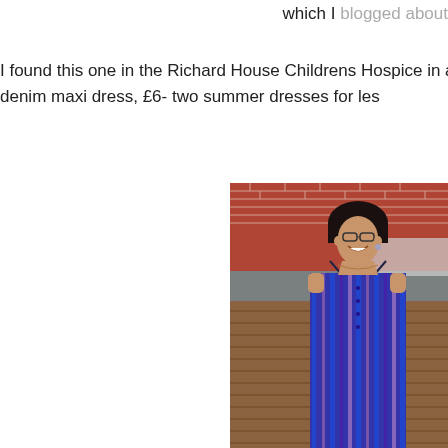which I blogged about
I found this one in the Richard House Childrens Hospice in a local ne denim maxi dress, £6- two summer dresses for les
[Figure (photo): A smiling woman with short dark hair and glasses, wearing a purple and blue striped spaghetti-strap maxi dress, standing outdoors in front of a brick wall and wooden shed.]